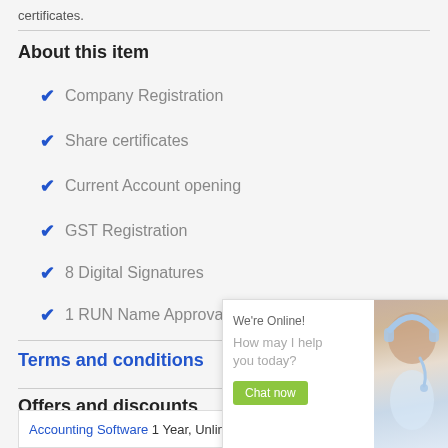certificates.
About this item
Company Registration
Share certificates
Current Account opening
GST Registration
8 Digital Signatures
1 RUN Name Approval
Terms and conditions
Offers and discounts
[Figure (screenshot): Live chat widget showing 'We're Online! How may I help you today?' with a Chat now button and a photo of a customer service representative wearing a headset.]
Accounting Software 1 Year, Unlimited Users LEDGERS License